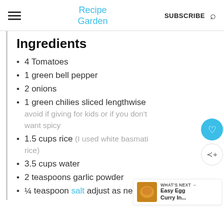Recipe Garden | SUBSCRIBE
Ingredients
4 Tomatoes
1 green bell pepper
2 onions
1 green chilies sliced lengthwise avoid if giving for kids or if you don't want spicy
1.5 cups rice (I used white basmati rice)
3.5 cups water
2 teaspoons garlic powder
¼ teaspoon salt adjust as needed